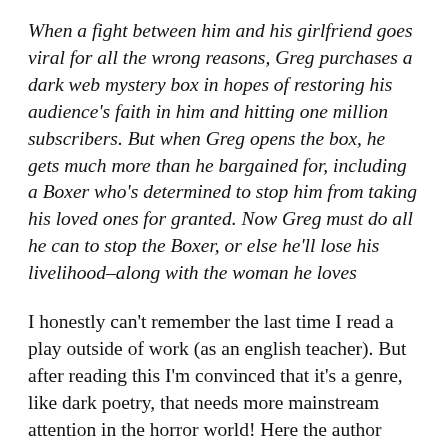When a fight between him and his girlfriend goes viral for all the wrong reasons, Greg purchases a dark web mystery box in hopes of restoring his audience's faith in him and hitting one million subscribers. But when Greg opens the box, he gets much more than he bargained for, including a Boxer who's determined to stop him from taking his loved ones for granted. Now Greg must do all he can to stop the Boxer, or else he'll lose his livelihood–along with the woman he loves
I honestly can't remember the last time I read a play outside of work (as an english teacher). But after reading this I'm convinced that it's a genre, like dark poetry, that needs more mainstream attention in the horror world! Here the author does a great job of blending mystery, suspense, and character drama in a